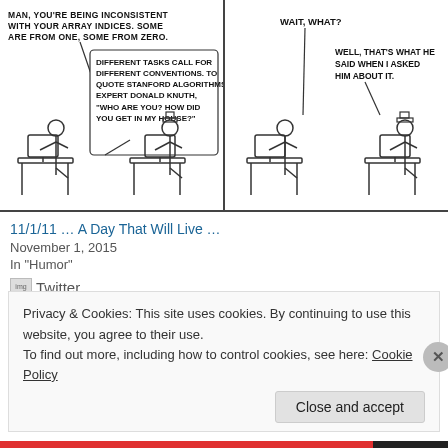[Figure (illustration): XKCD-style webcomic in two panels. Left panel: Two stick figures at computers. Speech bubble from left figure: 'MAN, YOU'RE BEING INCONSISTENT WITH YOUR ARRAY INDICES. SOME ARE FROM ONE, SOME FROM ZERO.' Response bubble: 'DIFFERENT TASKS CALL FOR DIFFERENT CONVENTIONS. TO QUOTE STANFORD ALGORITHMS EXPERT DONALD KNUTH, "WHO ARE YOU? HOW DID YOU GET IN MY HOUSE?"' Right panel: Same two stick figures. Left says 'WAIT, WHAT?' Right replies 'WELL, THAT'S WHAT HE SAID WHEN I ASKED HIM ABOUT IT.']
11/1/11 … A Day That Will Live …
November 1, 2015
In "Humor"
[Figure (logo): Twitter bird icon placeholder image]
Twitter
Privacy & Cookies: This site uses cookies. By continuing to use this website, you agree to their use.
To find out more, including how to control cookies, see here: Cookie Policy
Close and accept